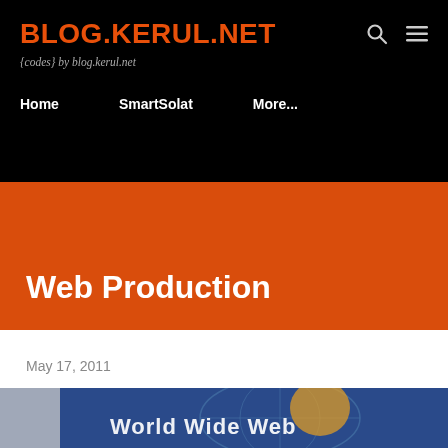BLOG.KERUL.NET
{codes} by blog.kerul.net
Home   SmartSolat   More...
Web Production
May 17, 2011
[Figure (photo): World Wide Web themed banner image with blue background and globe/web imagery with text 'World Wide Web']